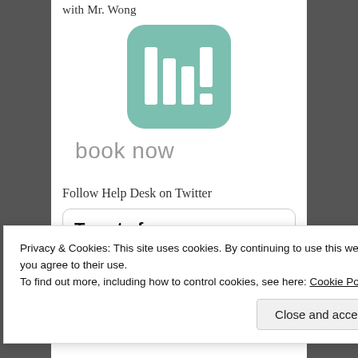with Mr. Wong
[Figure (logo): Lili app logo — teal/green rounded square with white bar chart icon resembling the letters 'lil!']
book now
Follow Help Desk on Twitter
Tweets from
Privacy & Cookies: This site uses cookies. By continuing to use this website, you agree to their use.
To find out more, including how to control cookies, see here: Cookie Policy
Close and accept